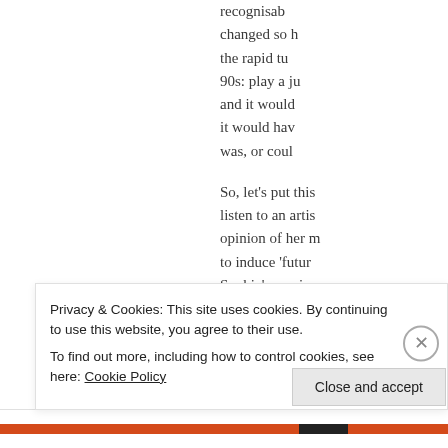recognisab changed so the rapid tu 90s: play a j and it would it would hav was, or coul
So, let's put thi listen to an arti opinion of her m to induce 'futu Sophie's music d p th
Privacy & Cookies: This site uses cookies. By continuing to use this website, you agree to their use. To find out more, including how to control cookies, see here: Cookie Policy
Close and accept